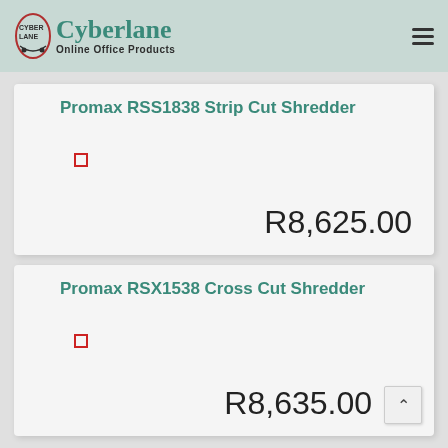Cyberlane Online Office Products
Promax RSS1838 Strip Cut Shredder
R8,625.00
Promax RSX1538 Cross Cut Shredder
R8,635.00